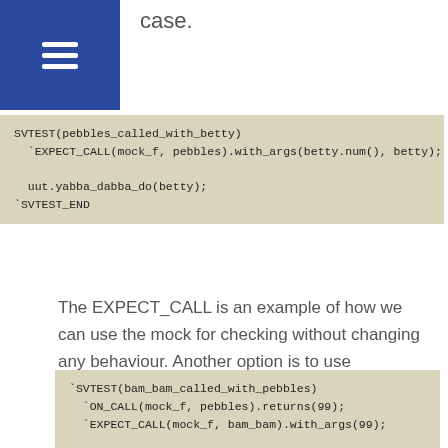case.
[Figure (screenshot): Code block with SVTEST(pebbles_called_with_betty), EXPECT_CALL(mock_f, pebbles).with_args(betty.num(), betty);, uut.yabba_dabba_do(betty);, SVTEST_END on a beige background]
The EXPECT_CALL is an example of how we can use the mock for checking without changing any behaviour. Another option is to use ON_CALL to override the behaviour of flintstones. In the simplest case, we could use an ON_CALL returns to set the return value of pebbles to a known value (i.e. 99). We can then use that known value in an EXPECT_CALL with_args for bam_bam.
[Figure (screenshot): Code block with SVTEST(bam_bam_called_with_pebbles), ON_CALL(mock_f, pebbles).returns(99);, EXPECT_CALL(mock_f, bam_bam).with_args(99);, uut.yabba dabba do(betty); on a beige background]